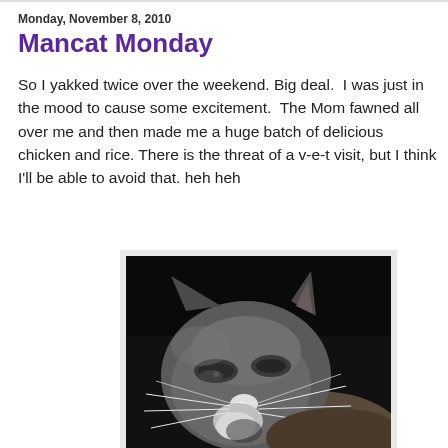Monday, November 8, 2010
Mancat Monday
So I yakked twice over the weekend. Big deal.  I was just in the mood to cause some excitement.  The Mom fawned all over me and then made me a huge batch of delicious chicken and rice. There is the threat of a v-e-t visit, but I think I'll be able to avoid that. heh heh
[Figure (photo): Black and white close-up photo of a gray and white cat with prominent whiskers, looking sideways with eyes partially closed, against a dark background.]